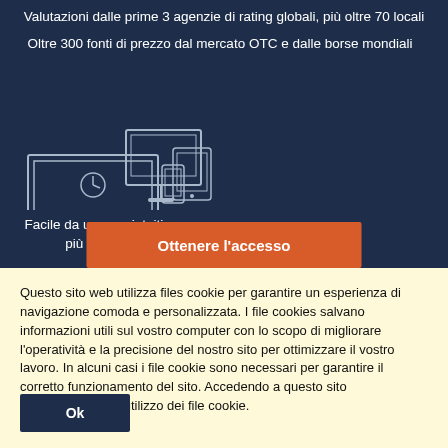Valutazioni dalle prime 3 agenzie di rating globali, più oltre 70 locali
Oltre 300 fonti di prezzo dal mercato OTC e dalle borse mondiali
[Figure (illustration): Line-art illustration of multiple devices: laptop, tablet, desktop monitor, and smartphone]
Facile da usare e intuitivo su più piattaforme
Ottenere l'accesso
Questo sito web utilizza files cookie per garantire un esperienza di navigazione comoda e personalizzata. I file cookies salvano informazioni utili sul vostro computer con lo scopo di migliorare l'operatività e la precisione del nostro sito per ottimizzare il vostro lavoro. In alcuni casi i file cookie sono necessari per garantire il corretto funzionamento del sito. Accedendo a questo sito acconsentirete all'utilizzo dei file cookie.
Ok